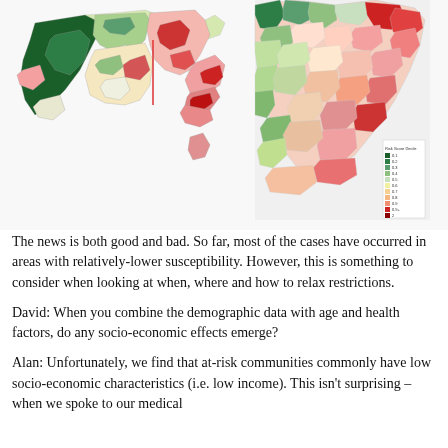[Figure (map): Two choropleth maps of Australia showing risk score decile by region. Left map shows all of Australia with dark green (low risk) in Western Australia and red/pink (high risk) in eastern coastal regions. Right map is a zoomed-in view of southeastern Australia (NSW/VIC area) showing similar color gradient from green (low risk, decile 1) to red (high risk, decile 2+). A legend on the right shows Risk Score Decile from 0.1 (dark green) to 2 (dark red).]
The news is both good and bad. So far, most of the cases have occurred in areas with relatively-lower susceptibility. However, this is something to consider when looking at when, where and how to relax restrictions.
David: When you combine the demographic data with age and health factors, do any socio-economic effects emerge?
Alan: Unfortunately, we find that at-risk communities commonly have low socio-economic characteristics (i.e. low income). This isn't surprising – when we spoke to our medical